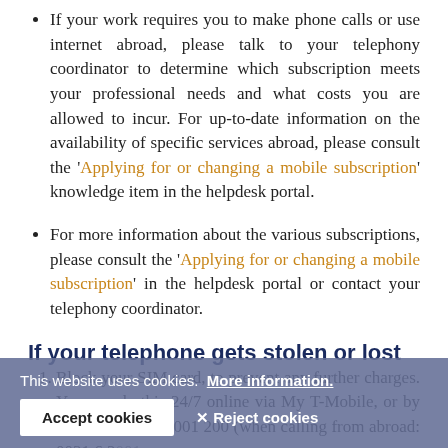If your work requires you to make phone calls or use internet abroad, please talk to your telephony coordinator to determine which subscription meets your professional needs and what costs you are allowed to incur. For up-to-date information on the availability of specific services abroad, please consult the 'Applying for or changing a mobile subscription' knowledge item in the helpdesk portal.
For more information about the various subscriptions, please consult the 'Applying for or changing a mobile subscription' in the helpdesk portal or contact your telephony coordinator.
If your telephone gets stolen or lost
Block your SIM card, to prevent any further charges. You can do this 24/7 online via My T-Mobile, or by telephone at 06 2001 200 (when calling from abroad: 0031 6 2001 200). You can also contact your telephony coordinator.
In case of loss/theft, immediately change all relevant...
This website uses cookies. More information. [Accept cookies] [Reject cookies]